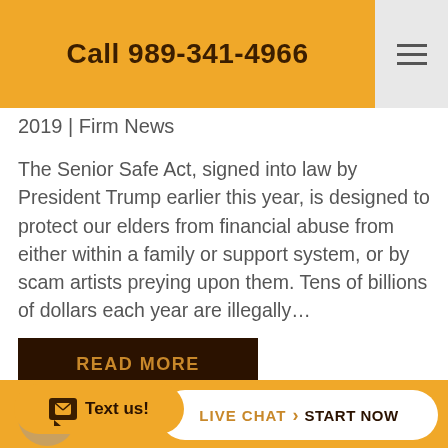Call 989-341-4966
2019 | Firm News
The Senior Safe Act, signed into law by President Trump earlier this year, is designed to protect our elders from financial abuse from either within a family or support system, or by scam artists preying upon them. Tens of billions of dollars each year are illegally…
READ MORE